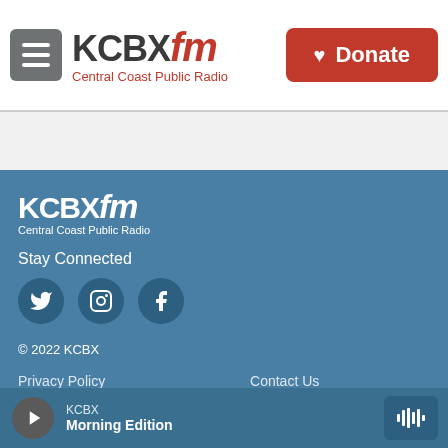KCBX FM — Central Coast Public Radio | Donate
[Figure (logo): KCBX FM Central Coast Public Radio logo in footer]
Stay Connected
[Figure (infographic): Social media icons: Twitter, Instagram, Facebook]
© 2022 KCBX
Privacy Policy
Contact Us
EEO Report KCBX, KSBX, KNBX
KCBX Newsletters
KCBX Morning Edition